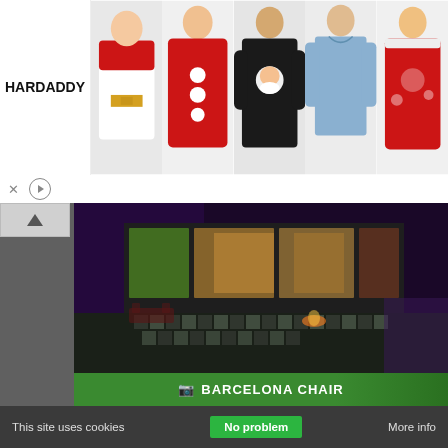[Figure (screenshot): HARDADDY clothing advertisement banner showing 5 Christmas/holiday hoodies and shirts. Brand name 'HARDADDY' on left, product images on right.]
[Figure (screenshot): Ad controls row with X close button and play/pause circular button]
[Figure (screenshot): Website main content area showing a modern house exterior at night with checkered patio lighting, purple ambient light, fire pit glow]
[Figure (screenshot): Barcelona Chair product section with green header bar showing camera icon and text 'BARCELONA CHAIR', displaying multiple Barcelona chairs in different colors: white/cream, black, orange, brown in various angles]
This site uses cookies
No problem
More info